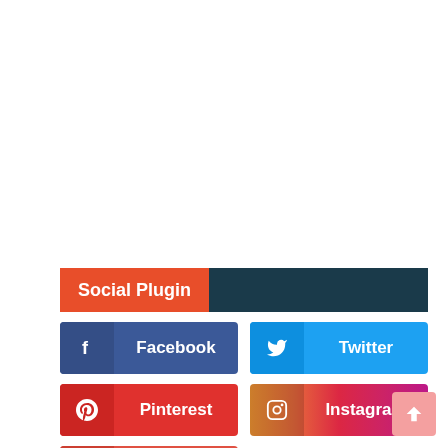Social Plugin
[Figure (infographic): Social media plugin buttons: Facebook (blue-purple), Twitter (blue), Pinterest (red), Instagram (gradient), YouTube (red-orange), arranged in a grid layout with icons and labels.]